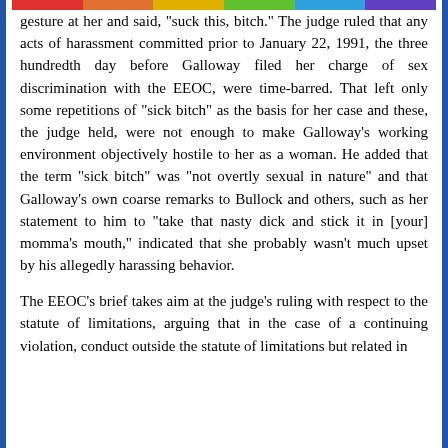gesture at her and said, "suck this, bitch." The judge ruled that any acts of harassment committed prior to January 22, 1991, the three hundredth day before Galloway filed her charge of sex discrimination with the EEOC, were time-barred. That left only some repetitions of "sick bitch" as the basis for her case and these, the judge held, were not enough to make Galloway's working environment objectively hostile to her as a woman. He added that the term "sick bitch" was "not overtly sexual in nature" and that Galloway's own coarse remarks to Bullock and others, such as her statement to him to "take that nasty dick and stick it in [your] momma's mouth," indicated that she probably wasn't much upset by his allegedly harassing behavior.
The EEOC's brief takes aim at the judge's ruling with respect to the statute of limitations, arguing that in the case of a continuing violation, conduct outside the statute of limitations but related in